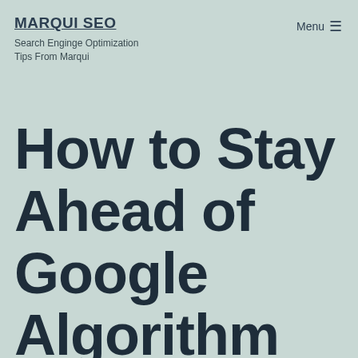MARQUI SEO
Search Enginge Optimization Tips From Marqui
Menu ☰
How to Stay Ahead of Google Algorithm